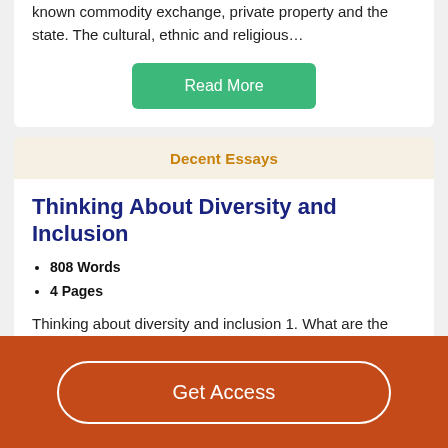known commodity exchange, private property and the state. The cultural, ethnic and religious…
Read More
Decent Essays
Thinking About Diversity and Inclusion
808 Words
4 Pages
Thinking about diversity and inclusion 1. What are the dimensions of cultural diversity? Identify and briefly explain the dimensions by referencing both textbooks. The
Get Access